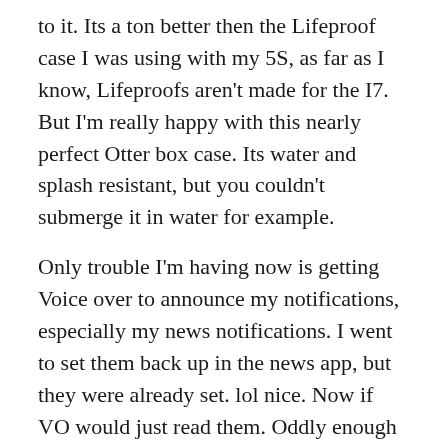to it. Its a ton better then the Lifeproof case I was using with my 5S, as far as I know, Lifeproofs aren't made for the I7. But I'm really happy with this nearly perfect Otter box case. Its water and splash resistant, but you couldn't submerge it in water for example.
Only trouble I'm having now is getting Voice over to announce my notifications, especially my news notifications. I went to set them back up in the news app, but they were already set. lol nice. Now if VO would just read them. Oddly enough it speaks texts that come in, but not the notifications.
Anyway, hope my experience helps.